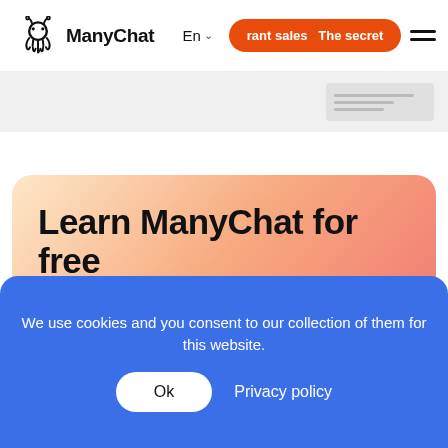ManyChat  En  rant sales  The secret
[Figure (screenshot): Gray banner with placeholder content thumbnail on the right]
Learn ManyChat for free
Watch our free videos to master ManyChat
We use cookies and you consent to our collection of them for this website.
Ok   Privacy policy